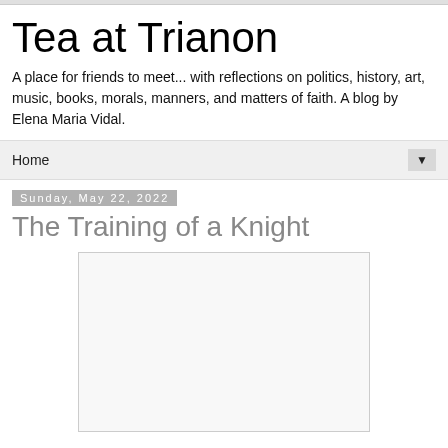Tea at Trianon
A place for friends to meet... with reflections on politics, history, art, music, books, morals, manners, and matters of faith. A blog by Elena Maria Vidal.
Home
Sunday, May 22, 2022
The Training of a Knight
[Figure (other): Blank white rectangular image placeholder]